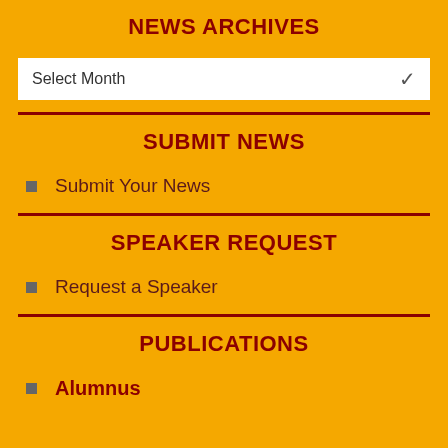NEWS ARCHIVES
[Figure (screenshot): Dropdown select box labeled 'Select Month' with a dropdown arrow on the right]
SUBMIT NEWS
Submit Your News
SPEAKER REQUEST
Request a Speaker
PUBLICATIONS
Alumnus